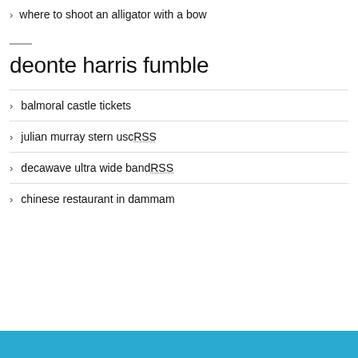where to shoot an alligator with a bow
deonte harris fumble
balmoral castle tickets
julian murray stern uscRSS
decawave ultra wide bandRSS
chinese restaurant in dammam